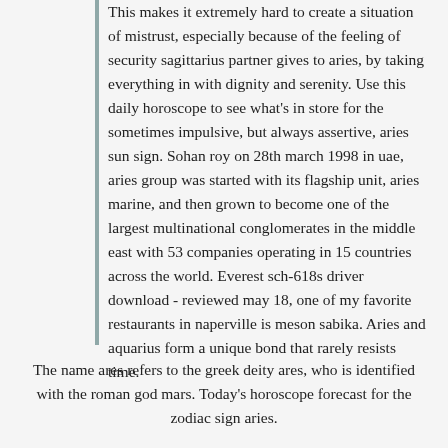This makes it extremely hard to create a situation of mistrust, especially because of the feeling of security sagittarius partner gives to aries, by taking everything in with dignity and serenity. Use this daily horoscope to see what's in store for the sometimes impulsive, but always assertive, aries sun sign. Sohan roy on 28th march 1998 in uae, aries group was started with its flagship unit, aries marine, and then grown to become one of the largest multinational conglomerates in the middle east with 53 companies operating in 15 countries across the world. Everest sch-618s driver download - reviewed may 18, one of my favorite restaurants in naperville is meson sabika. Aries and aquarius form a unique bond that rarely resists time.
The name ares refers to the greek deity ares, who is identified with the roman god mars. Today's horoscope forecast for the zodiac sign aries.